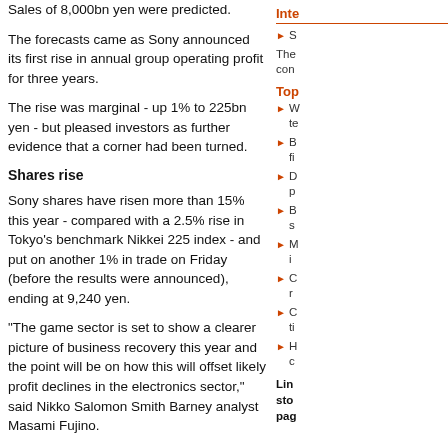Sales of 8,000bn yen were predicted.
The forecasts came as Sony announced its first rise in annual group operating profit for three years.
The rise was marginal - up 1% to 225bn yen - but pleased investors as further evidence that a corner had been turned.
Shares rise
Sony shares have risen more than 15% this year - compared with a 2.5% rise in Tokyo's benchmark Nikkei 225 index - and put on another 1% in trade on Friday (before the results were announced), ending at 9,240 yen.
"The game sector is set to show a clearer picture of business recovery this year and the point will be on how this will offset likely profit declines in the electronics sector," said Nikko Salomon Smith Barney analyst Masami Fujino.
Net profit - which includes one-off items such as gains or losses on investments - was 86% down at 16.75bn yen following the well-publicised production problems with the Playstation 2 that led to delays in shipments.
Revenue was up 9.4% at 7,320bn yen.
Operating profit in the electronics division was up
Inte
S
The con
Top
W te
B fi
D p
B s
M i
C r
C ti
H c
Lin sto pag